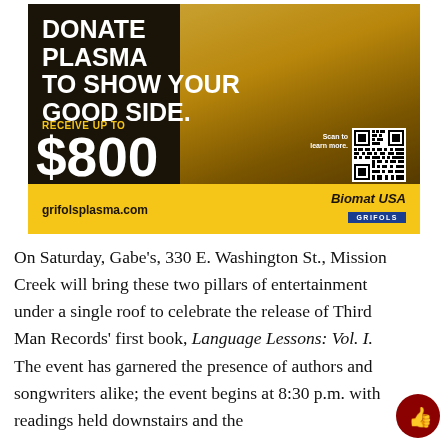[Figure (photo): Advertisement for Biomat USA Grifols plasma donation center. Dark background with woman smiling holding a yellow cup. Text reads: DONATE PLASMA TO SHOW YOUR GOOD SIDE. RECEIVE UP TO $800 YOUR FIRST MONTH. 408 South Gilbert St. • (319) 341-8000. QR code with 'Scan to learn more.' Fine print about eligibility. grifolsplasma.com. Biomat USA / GRIFOLS logo.]
On Saturday, Gabe's, 330 E. Washington St., Mission Creek will bring these two pillars of entertainment under a single roof to celebrate the release of Third Man Records' first book, Language Lessons: Vol. I. The event has garnered the presence of authors and songwriters alike; the event begins at 8:30 p.m. with readings held downstairs and the